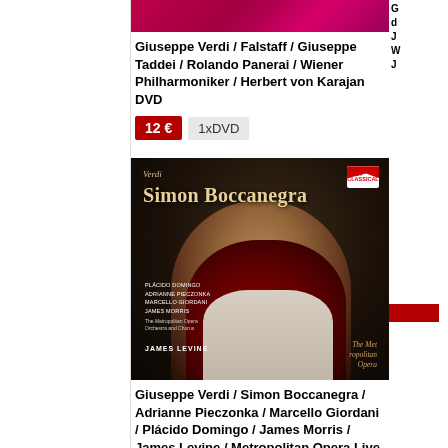[Figure (photo): Top portion of a DVD cover with pink/crimson abstract design — Falstaff]
Giuseppe Verdi / Falstaff / Giuseppe Taddei / Rolando Panerai / Wiener Philharmoniker / Herbert von Karajan DVD
12 €   1xDVD
[Figure (photo): DVD cover for Simon Boccanegra by Giuseppe Verdi, showing Plácido Domingo in costume, with The Metropolitan Opera logo and Sony Classical label. Cast: Plácido Domingo, Adrianne Pieczonka, Marcello Giordani, James Morris. Conductor: James Levine.]
Giuseppe Verdi / Simon Boccanegra / Adrianne Pieczonka / Marcello Giordani / Plácido Domingo / James Morris / James Levine / Metropolitan Opera Live DVD
37 €   3xDVD